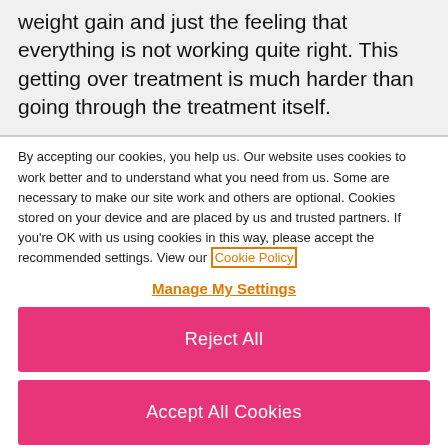weight gain and just the feeling that everything is not working quite right. This getting over treatment is much harder than going through the treatment itself.
By accepting our cookies, you help us. Our website uses cookies to work better and to understand what you need from us. Some are necessary to make our site work and others are optional. Cookies stored on your device and are placed by us and trusted partners. If you're OK with us using cookies in this way, please accept the recommended settings. View our Cookie Policy
Manage My Settings
Reject All
Accept All Cookies